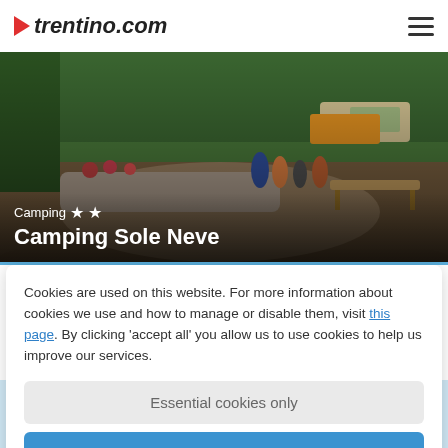trentino.com
[Figure (photo): Outdoor camping area with stone walls decorated with flowers, people walking, wooden benches, trees and vehicles in background.]
Camping ★★ Camping Sole Neve
Cookies are used on this website. For more information about cookies we use and how to manage or disable them, visit this page. By clicking 'accept all' you allow us to use cookies to help us improve our services.
Essential cookies only
Accept all
★★★★ Sport Hotel Majarè The perfect mix of wellness & active holidays